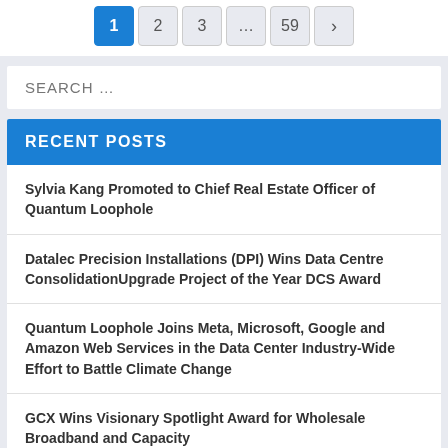1 2 3 … 59 >
SEARCH …
RECENT POSTS
Sylvia Kang Promoted to Chief Real Estate Officer of Quantum Loophole
Datalec Precision Installations (DPI) Wins Data Centre ConsolidationUpgrade Project of the Year DCS Award
Quantum Loophole Joins Meta, Microsoft, Google and Amazon Web Services in the Data Center Industry-Wide Effort to Battle Climate Change
GCX Wins Visionary Spotlight Award for Wholesale Broadband and Capacity